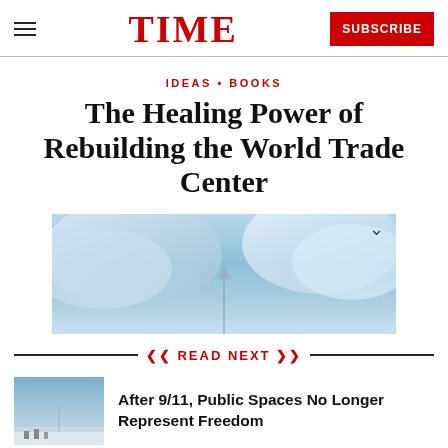TIME | SUBSCRIBE
IDEAS • BOOKS
The Healing Power of Rebuilding the World Trade Center
[Figure (photo): Aerial or architectural photograph with blue sky and clouds, related to the World Trade Center]
READ NEXT
After 9/11, Public Spaces No Longer Represent Freedom